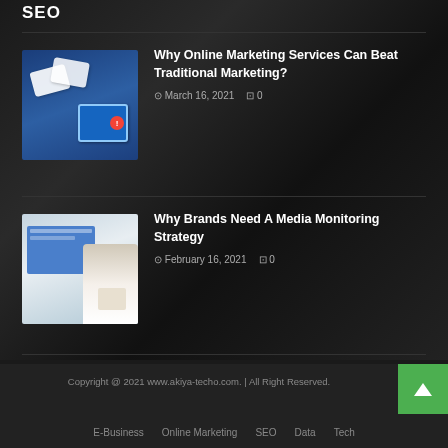SEO
Why Online Marketing Services Can Beat Traditional Marketing?
March 16, 2021  0
Why Brands Need A Media Monitoring Strategy
February 16, 2021  0
For You To Consider ASP.Internet for your Web Application?
January 16, 2021  0
Copyright @ 2021 www.akiya-techo.com. | All Right Reserved.
E-Business   Online Marketing   SEO   Data   Tech